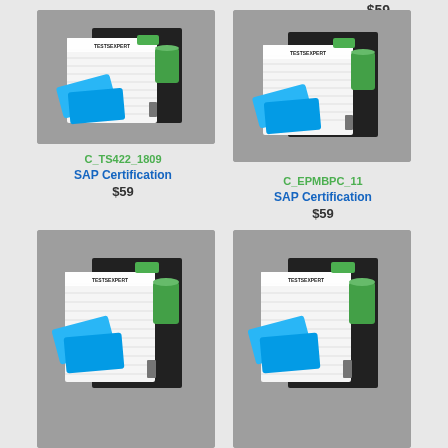$59
[Figure (photo): TestExpert SAP certification study materials bundle with books, green cup, and blue cards]
C_TS422_1809
SAP Certification
$59
[Figure (photo): TestExpert SAP certification study materials bundle with books, green cup, and blue cards]
C_EPMBPC_11
SAP Certification
$59
[Figure (photo): TestExpert SAP certification study materials bundle with books, green cup, and blue cards]
[Figure (photo): TestExpert SAP certification study materials bundle with books, green cup, and blue cards]